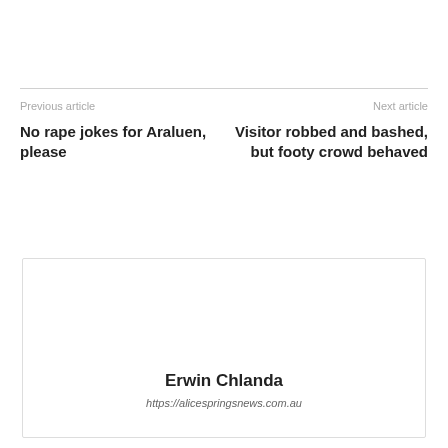Previous article
Next article
No rape jokes for Araluen, please
Visitor robbed and bashed, but footy crowd behaved
Erwin Chlanda
https://alicespringsnews.com.au